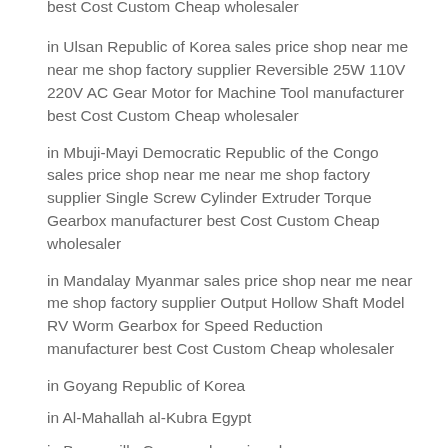best Cost Custom Cheap wholesaler
in Ulsan Republic of Korea sales price shop near me near me shop factory supplier Reversible 25W 110V 220V AC Gear Motor for Machine Tool manufacturer best Cost Custom Cheap wholesaler
in Mbuji-Mayi Democratic Republic of the Congo sales price shop near me near me shop factory supplier Single Screw Cylinder Extruder Torque Gearbox manufacturer best Cost Custom Cheap wholesaler
in Mandalay Myanmar sales price shop near me near me shop factory supplier Output Hollow Shaft Model RV Worm Gearbox for Speed Reduction manufacturer best Cost Custom Cheap wholesaler
in Goyang Republic of Korea
in Al-Mahallah al-Kubra Egypt
in Brazzaville Congo sales price shop near me near me shop factory supplier Double Stage Cylindrical Motor Reducer Gearbox for Conveyor manufacturer best